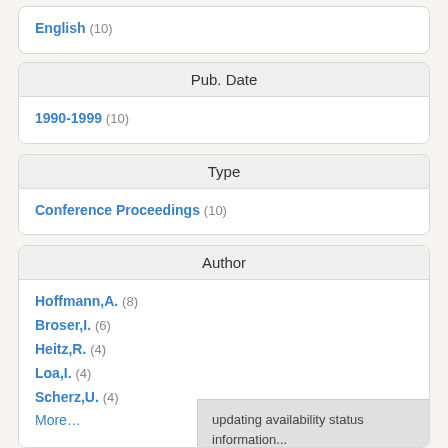English (10)
Pub. Date
1990-1999 (10)
Type
Conference Proceedings (10)
Author
Hoffmann,A. (8)
Broser,I. (6)
Heitz,R. (4)
Loa,I. (4)
Scherz,U. (4)
More…
updating availability status information...